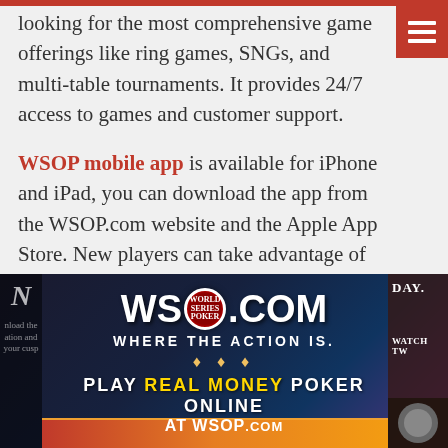looking for the most comprehensive game offerings like ring games, SNGs, and multi-table tournaments. It provides 24/7 access to games and customer support.
WSOP mobile app is available for iPhone and iPad, you can download the app from the WSOP.com website and the Apple App Store. New players can take advantage of up to $1,000 deposit bonus and $100 daily welcome week freerolls.
[Figure (photo): WSOP.com advertisement banner showing 'WSOP.COM WHERE THE ACTION IS.' and 'PLAY REAL MONEY POKER ONLINE AT WSOP.COM' text on dark blue/purple background with poker chip logo]